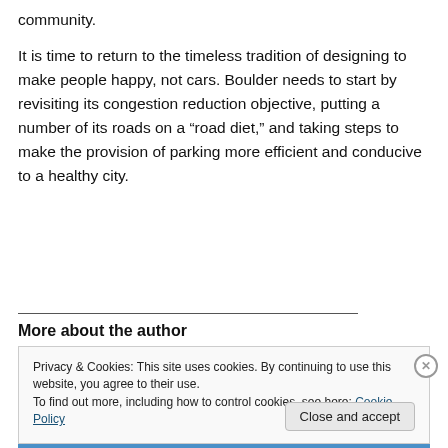community.
It is time to return to the timeless tradition of designing to make people happy, not cars. Boulder needs to start by revisiting its congestion reduction objective, putting a number of its roads on a “road diet,” and taking steps to make the provision of parking more efficient and conducive to a healthy city.
More about the author
Privacy & Cookies: This site uses cookies. By continuing to use this website, you agree to their use.
To find out more, including how to control cookies, see here: Cookie Policy
Close and accept